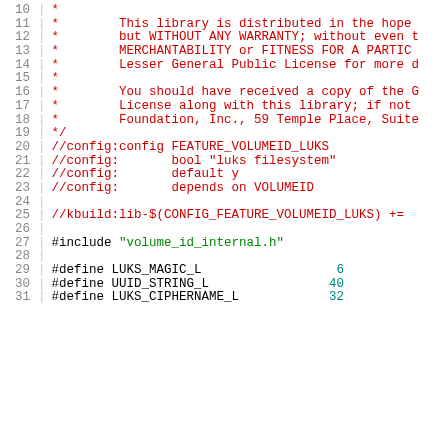Source code listing lines 10-31 showing LUKS filesystem configuration and defines
10  *
11  *      This library is distributed in the hope
12  *      but WITHOUT ANY WARRANTY; without even t
13  *      MERCHANTABILITY or FITNESS FOR A PARTIC
14  *      Lesser General Public License for more d
15  *
16  *      You should have received a copy of the G
17  *      License along with this library; if not
18  *      Foundation, Inc., 59 Temple Place, Suite
19  */
20  //config:config FEATURE_VOLUMEID_LUKS
21  //config:      bool "luks filesystem"
22  //config:      default y
23  //config:      depends on VOLUMEID
24
25  //kbuild:lib-$(CONFIG_FEATURE_VOLUMEID_LUKS) +=
26
27  #include "volume_id_internal.h"
28
29  #define LUKS_MAGIC_L                   6
30  #define UUID_STRING_L                  40
31  #define LUKS_CIPHERNAME_L              32